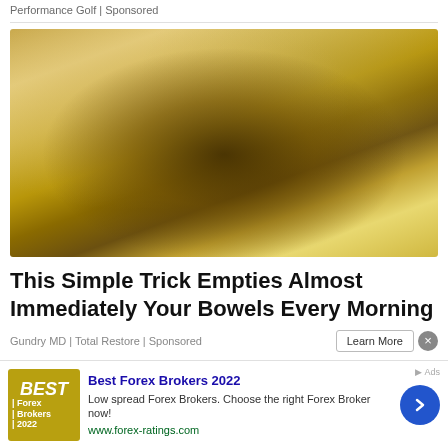Performance Golf | Sponsored
[Figure (photo): Close-up photo of a hand holding a translucent food item covered in golden/brown spices or herbs, with a bowl visible in the background]
This Simple Trick Empties Almost Immediately Your Bowels Every Morning
Gundry MD | Total Restore | Sponsored
[Figure (infographic): Advertisement banner for Best Forex Brokers 2022 with logo, description text, and arrow button]